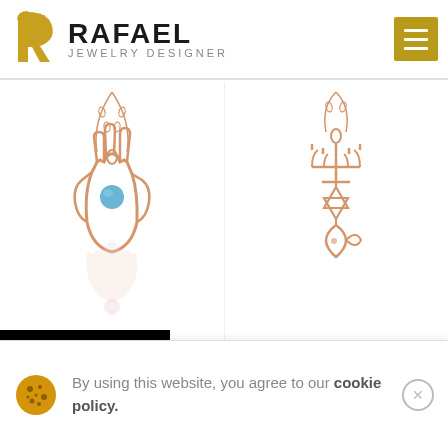[Figure (logo): Rafael Jewelry Designer logo with golden harp symbol and text]
[Figure (photo): Rose gold Hamsa Blue pendant on chain, with blue opal stone center]
[Figure (photo): 14K Rose Gold Messianic Seal pendant on chain, featuring menorah, Star of David, and fish symbol]
nsa Blue
t
14K Rose Gold Messianic Seal Pendant
Unlock
By using this website, you agree to our cookie policy.